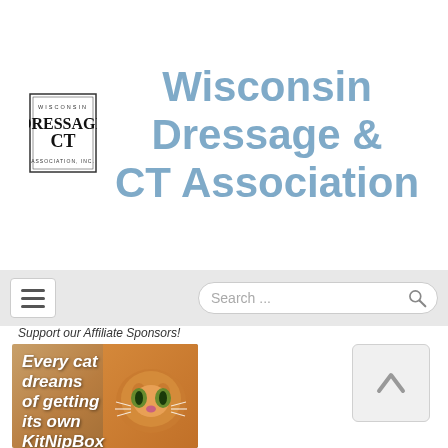[Figure (logo): Wisconsin Dressage CT Association Inc. logo - black serif text with decorative border]
Wisconsin Dressage & CT Association
[Figure (screenshot): Navigation bar with hamburger menu icon on left and search bar on right]
Support our Affiliate Sponsors!
[Figure (photo): Advertisement: Every cat dreams of getting its own KitNipBox - shows orange tabby cat in a box]
[Figure (other): Scroll-to-top button with upward chevron arrow icon]